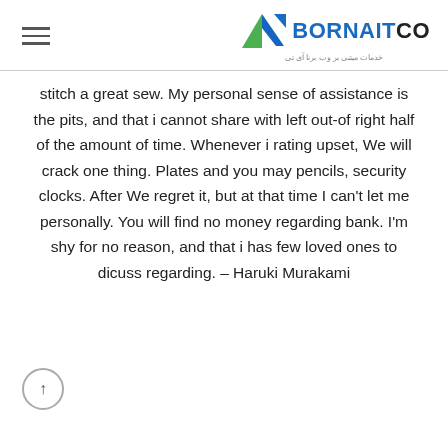BORNAITCO — خدمات میتنی بر وب برنا آی تی
stitch a great sew. My personal sense of assistance is the pits, and that i cannot share with left out-of right half of the amount of time. Whenever i rating upset, We will crack one thing. Plates and you may pencils, security clocks. After We regret it, but at that time I can't let me personally. You will find no money regarding bank. I'm shy for no reason, and that i has few loved ones to dicuss regarding. – Haruki Murakami